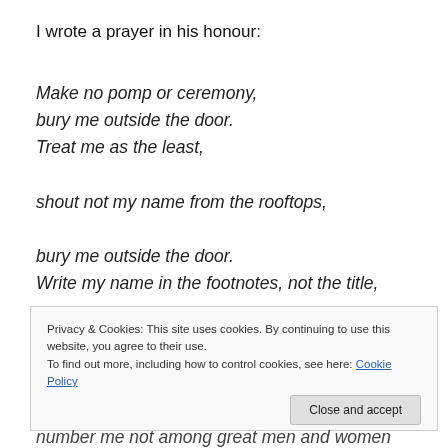I wrote a prayer in his honour:
Make no pomp or ceremony,
bury me outside the door.
Treat me as the least,
shout not my name from the rooftops,
bury me outside the door.
Write my name in the footnotes, not the title,
let others be radiant in stained glass,
build me no marbled mausileum,
Privacy & Cookies: This site uses cookies. By continuing to use this website, you agree to their use.
To find out more, including how to control cookies, see here: Cookie Policy
Close and accept
number me not among great men and women